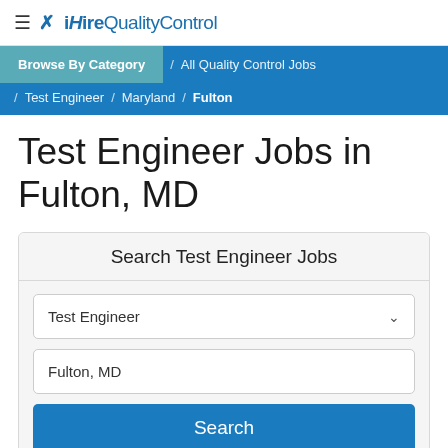≡ ✗ iHireQualityControl
Browse By Category / All Quality Control Jobs / Test Engineer / Maryland / Fulton
Test Engineer Jobs in Fulton, MD
Search Test Engineer Jobs
Test Engineer
Fulton, MD
Search